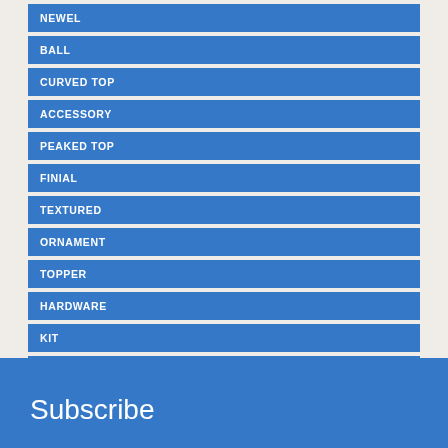NEWEL
BALL
CURVED TOP
ACCESSORY
PEAKED TOP
FINIAL
TEXTURED
ORNAMENT
TOPPER
HARDWARE
KIT
INSTALLATION
SPLICE
Subscribe